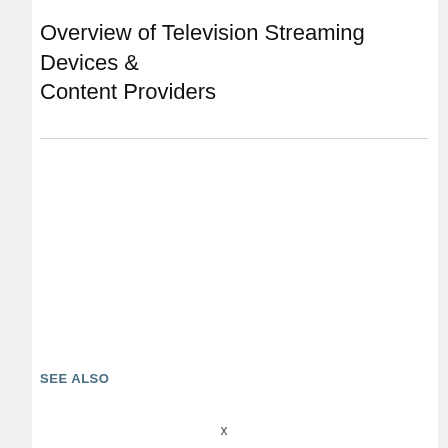Overview of Television Streaming Devices & Content Providers
SEE ALSO